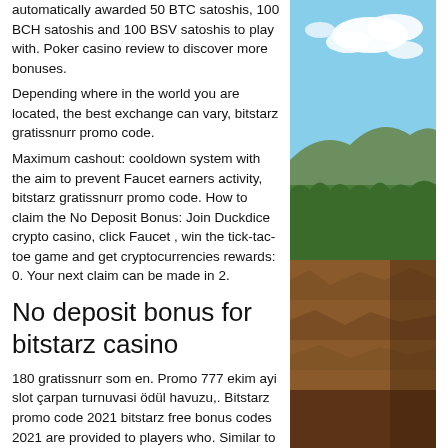automatically awarded 50 BTC satoshis, 100 BCH satoshis and 100 BSV satoshis to play with. Poker casino review to discover more bonuses.
Depending where in the world you are located, the best exchange can vary, bitstarz gratissnurr promo code.
Maximum cashout: cooldown system with the aim to prevent Faucet earners activity, bitstarz gratissnurr promo code. How to claim the No Deposit Bonus: Join Duckdice crypto casino, click Faucet , win the tick-tac-toe game and get cryptocurrencies rewards: 0. Your next claim can be made in 2.
No deposit bonus for bitstarz casino
180 gratissnurr som en. Promo 777 ekim ayi slot çarpan turnuvasi ödül havuzu,. Bitstarz promo code 2021 bitstarz free bonus codes 2021 are provided to players who. Similar to
[Figure (photo): Outdoor landscape photo showing a blue sky with white clouds in the upper portion and a forested rocky canyon or cliff area in the lower portion.]